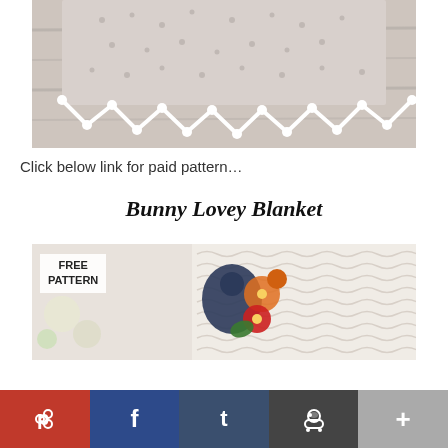[Figure (photo): A crocheted lace shawl or blanket in light grey/lavender color laid flat on a wooden surface. The item has a decorative zigzag/scallop border with small white bobbles or knots at each point.]
Click below link for paid pattern…
Bunny Lovey Blanket
[Figure (photo): A crocheted item (bag or blanket) in cream/beige color with colorful floral motifs in navy, orange, red, and green. A 'FREE PATTERN' badge is overlaid in the upper left with small white flowers visible beneath it.]
Pinterest   Facebook   Tumblr   Reddit   +